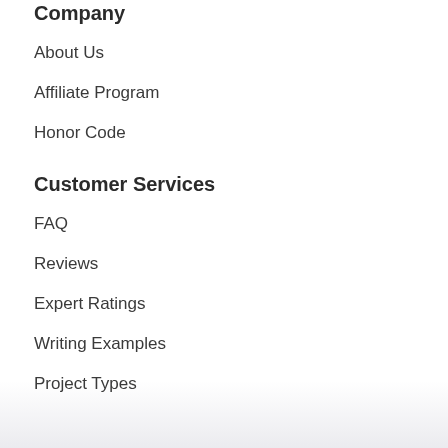Company
About Us
Affiliate Program
Honor Code
Customer Services
FAQ
Reviews
Expert Ratings
Writing Examples
Project Types